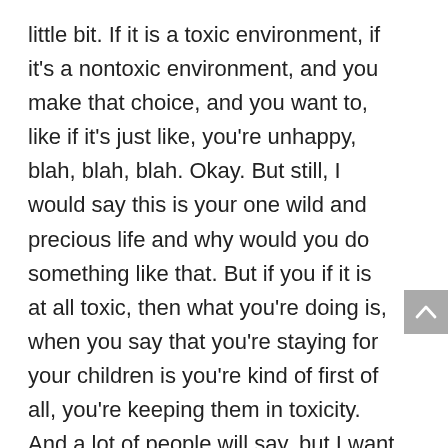little bit. If it is a toxic environment, if it's a nontoxic environment, and you make that choice, and you want to, like if it's just like, you're unhappy, blah, blah, blah. Okay. But still, I would say this is your one wild and precious life and why would you do something like that. But if you if it is at all toxic, then what you're doing is, when you say that you're staying for your children is you're kind of first of all, you're keeping them in toxicity. And a lot of people will say, but I want to stay because I can mitigate it, I can be there to sort of run interference. And what I say to that is that you're keeping your children in that environment 100% of the time, and by